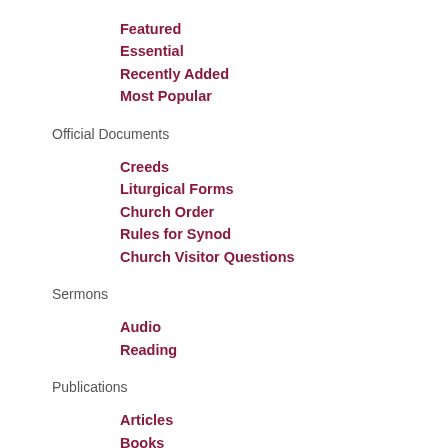Featured
Essential
Recently Added
Most Popular
Official Documents
Creeds
Liturgical Forms
Church Order
Rules for Synod
Church Visitor Questions
Sermons
Audio
Reading
Publications
Articles
Books